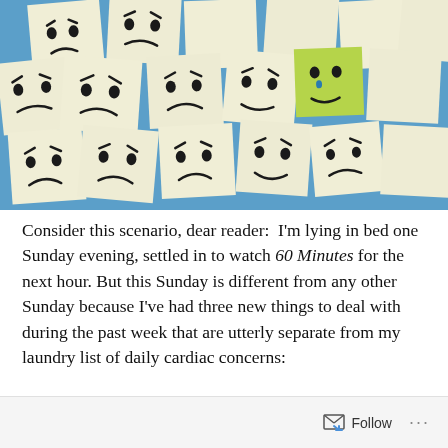[Figure (photo): Photo of many sticky/post-it notes on a blue wall, each with hand-drawn angry or sad faces. One green sticky note in the center has a sad face. The rest are white with various angry expressions.]
Consider this scenario, dear reader:  I'm lying in bed one Sunday evening, settled in to watch 60 Minutes for the next hour. But this Sunday is different from any other Sunday because I've had three new things to deal with during the past week that are utterly separate from my laundry list of daily cardiac concerns:
Follow ···